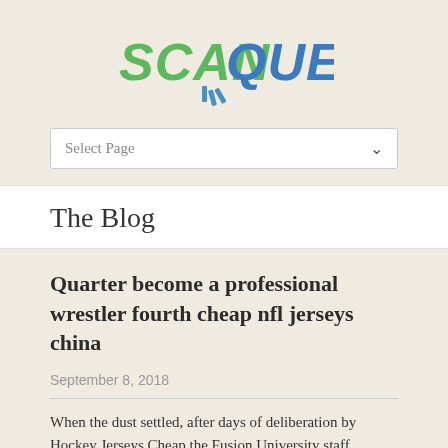[Figure (logo): ScanQuest logo with green 'SCAN' text and blue 'QUEST' text with a barcode scan graphic below]
Select Page
The Blog
Quarter become a professional wrestler fourth cheap nfl jerseys china
September 8, 2018
When the dust settled, after days of deliberation by Hockey Jerseys Cheap the Fusion University staff,